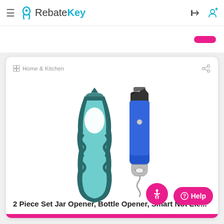RebateKey
Home & Kitchen
[Figure (photo): Product photo showing a teal/dark blue jar opener gripper tool on the left and a blue multi-tool corkscrew/bottle opener on the right, against a white background.]
2 Piece Set Jar Opener, Bottle Opener, Smart Not Ele...